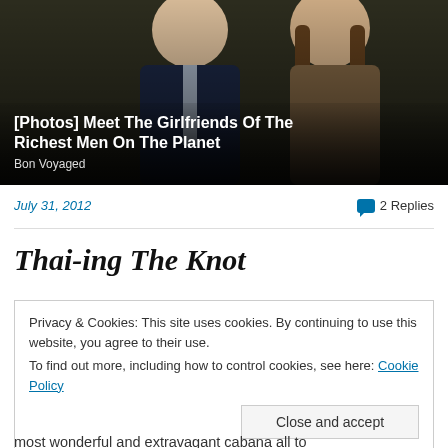[Figure (photo): Advertisement photo showing two people - a man in a dark suit with a tie and a woman with long brown hair, against a dark background]
[Photos] Meet The Girlfriends Of The Richest Men On The Planet
Bon Voyaged
July 31, 2012
2 Replies
Thai-ing The Knot
Privacy & Cookies: This site uses cookies. By continuing to use this website, you agree to their use.
To find out more, including how to control cookies, see here: Cookie Policy
Close and accept
most wonderful and extravagant cabana all to